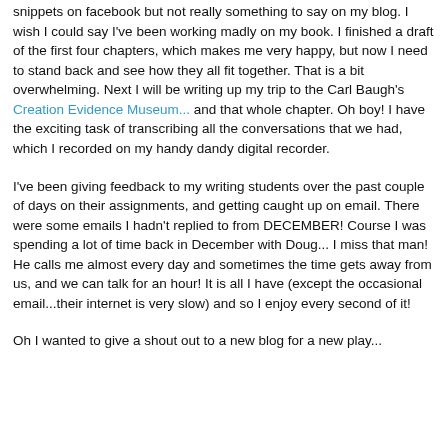snippets on facebook but not really something to say on my blog. I wish I could say I've been working madly on my book. I finished a draft of the first four chapters, which makes me very happy, but now I need to stand back and see how they all fit together. That is a bit overwhelming. Next I will be writing up my trip to the Carl Baugh's Creation Evidence Museum... and that whole chapter. Oh boy! I have the exciting task of transcribing all the conversations that we had, which I recorded on my handy dandy digital recorder.
I've been giving feedback to my writing students over the past couple of days on their assignments, and getting caught up on email. There were some emails I hadn't replied to from DECEMBER! Course I was spending a lot of time back in December with Doug... I miss that man! He calls me almost every day and sometimes the time gets away from us, and we can talk for an hour! It is all I have (except the occasional email...their internet is very slow) and so I enjoy every second of it!
Oh I wanted to give a shout out to a new blog for a new play...